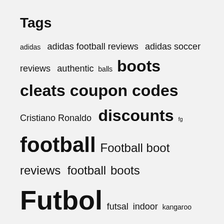Tags
adidas  adidas football reviews  adidas soccer reviews  authentic  balls  boots  cleats  coupon codes  Cristiano Ronaldo  discounts  fg  football  Football boot reviews  football boots  Futbol  futsal  indoor  kangaroo  laceless  leather  Limited edition  Nike  nike football reviews  nike soccer reviews  Official Match Ball  OMB  puma  pure compression  pure gloves  Pure Grip Socks  pure laces  pure sleeves  Review